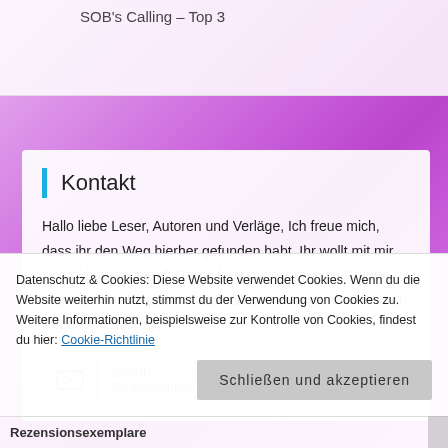SOB's Calling – Top 3
Kontakt
Hallo liebe Leser, Autoren und Verläge, Ich freue mich, dass ihr den Weg hierher gefunden habt. Ihr wollt mit mir Kontakt aufnehmen? Gerne beantworte ich eure Fragen und freue mich natürlich auch über konstruktive Kritik, und Rezensionsanfragen.
Email:
kontakt@lunaslesecke.de
Datenschutz & Cookies: Diese Website verwendet Cookies. Wenn du die Website weiterhin nutzt, stimmst du der Verwendung von Cookies zu. Weitere Informationen, beispielsweise zur Kontrolle von Cookies, findest du hier: Cookie-Richtlinie
Schließen und akzeptieren
Rezensionsexemplare